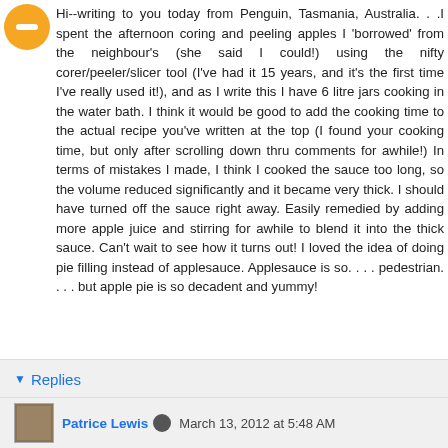[Figure (illustration): Orange circular avatar/profile icon with a minus symbol in the center]
Hi--writing to you today from Penguin, Tasmania, Australia. . .I spent the afternoon coring and peeling apples I 'borrowed' from the neighbour's (she said I could!) using the nifty corer/peeler/slicer tool (I've had it 15 years, and it's the first time I've really used it!), and as I write this I have 6 litre jars cooking in the water bath. I think it would be good to add the cooking time to the actual recipe you've written at the top (I found your cooking time, but only after scrolling down thru comments for awhile!) In terms of mistakes I made, I think I cooked the sauce too long, so the volume reduced significantly and it became very thick. I should have turned off the sauce right away. Easily remedied by adding more apple juice and stirring for awhile to blend it into the thick sauce. Can't wait to see how it turns out! I loved the idea of doing pie filling instead of applesauce. Applesauce is so. . . . pedestrian. . . . but apple pie is so decadent and yummy!
Reply
Replies
Patrice Lewis  March 13, 2012 at 5:48 AM